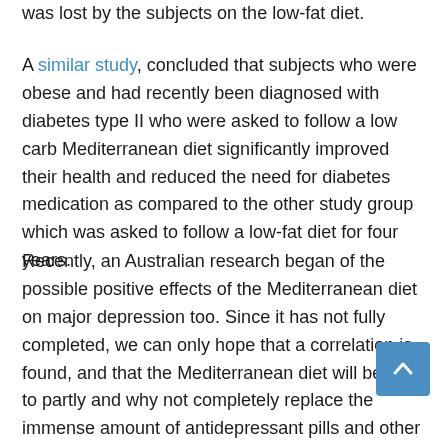was lost by the subjects on the low-fat diet.
A similar study, concluded that subjects who were obese and had recently been diagnosed with diabetes type II who were asked to follow a low carb Mediterranean diet significantly improved their health and reduced the need for diabetes medication as compared to the other study group which was asked to follow a low-fat diet for four years.
Recently, an Australian research began of the possible positive effects of the Mediterranean diet on major depression too. Since it has not fully completed, we can only hope that a correlation is found, and that the Mediterranean diet will be able to partly and why not completely replace the immense amount of antidepressant pills and other depression-related medication used worldwide.